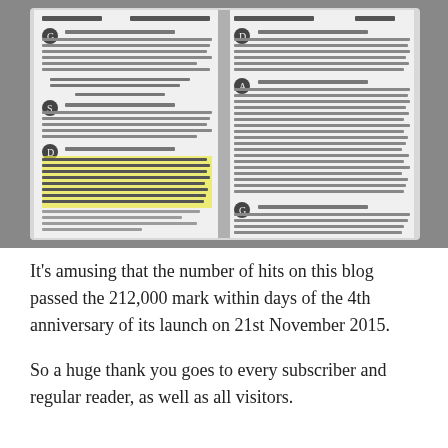[Figure (photo): A photograph of an open Bible showing two pages of text with small print. One passage on the left page is highlighted in yellow. The book appears to be sitting on a dark surface.]
It's amusing that the number of hits on this blog passed the 212,000 mark within days of the 4th anniversary of its launch on 21st November 2015.
So a huge thank you goes to every subscriber and regular reader, as well as all visitors.